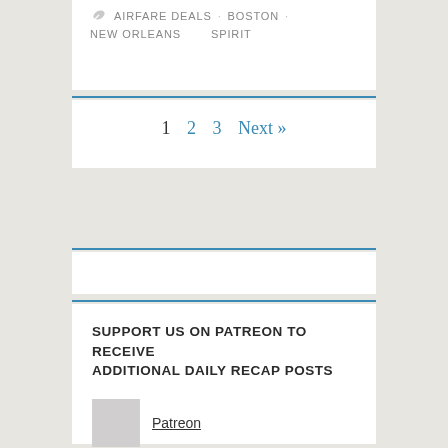AIRFARE DEALS · BOSTON · NEW ORLEANS · SPIRIT
1  2  3  Next »
SUPPORT US ON PATREON TO RECEIVE ADDITIONAL DAILY RECAP POSTS
Patreon